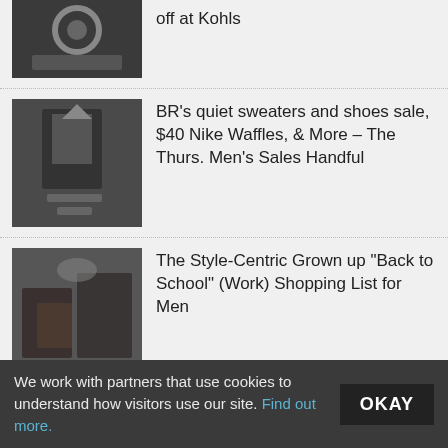off at Kohls
BR’s quiet sweaters and shoes sale, $40 Nike Waffles, & More – The Thurs. Men’s Sales Handful
The Style-Centric Grown up “Back to School” (Work) Shopping List for Men
Monday Men’s Sales Tripod – Old Navy Ultimate Chinos Sale, Grant Stone Coffee Suede, & More
Style Scenario: Black and Gray. Cooler than you’d think.
We work with partners that use cookies to understand how visitors use our site. Find out more.